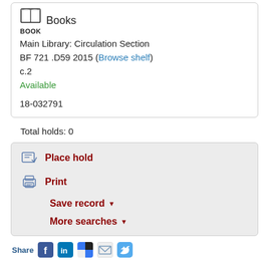[Figure (illustration): Book icon with label BOOK underneath]
Books
Main Library: Circulation Section
BF 721 .D59 2015 (Browse shelf)
c.2
Available
18-032791
Total holds: 0
Place hold
Print
Save record ▾
More searches ▾
Share